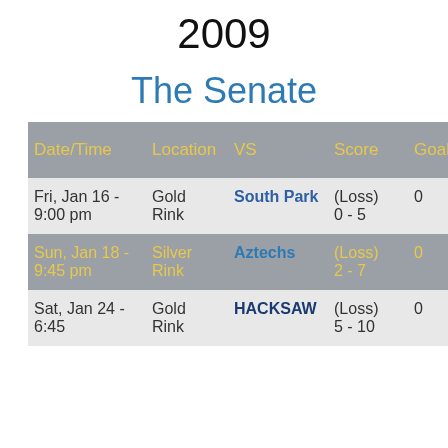2009
The Senate
| Date/Time | Location | VS | Score | Goals | A |
| --- | --- | --- | --- | --- | --- |
| Fri, Jan 16 - 9:00 pm | Gold Rink | South Park | (Loss) 0 - 5 | 0 | 0 |
| Sun, Jan 18 - 9:45 pm | Silver Rink | Aztechs | (Loss) 2 - 7 | 0 | 0 |
| Sat, Jan 24 - 6:45 | Gold Rink | HACKSAW | (Loss) 5 - 10 | 0 | 2 |